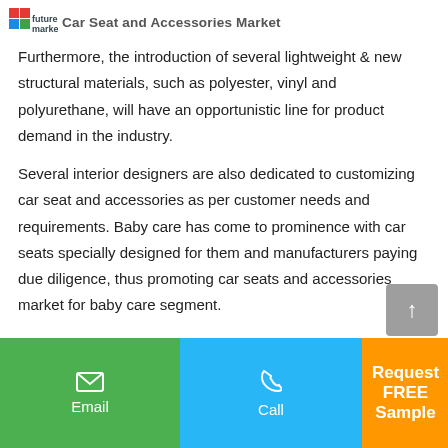Car Seat and Accessories Market
Furthermore, the introduction of several lightweight & new structural materials, such as polyester, vinyl and polyurethane, will have an opportunistic line for product demand in the industry.
Several interior designers are also dedicated to customizing car seat and accessories as per customer needs and requirements. Baby care has come to prominence with car seats specially designed for them and manufacturers paying due diligence, thus promoting car seats and accessories market for baby care segment.
Email | Call | Request FREE Sample